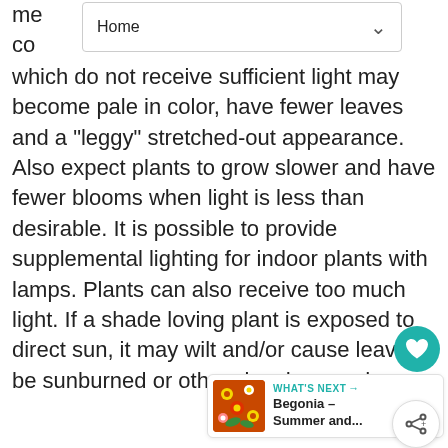Home
which do not receive sufficient light may become pale in color, have fewer leaves and a "leggy" stretched-out appearance. Also expect plants to grow slower and have fewer blooms when light is less than desirable. It is possible to provide supplemental lighting for indoor plants with lamps. Plants can also receive too much light. If a shade loving plant is exposed to direct sun, it may wilt and/or cause leaves be sunburned or otherwise damaged.
[Figure (infographic): What's Next card with begonia flower thumbnail and text 'Begonia – Summer and...']